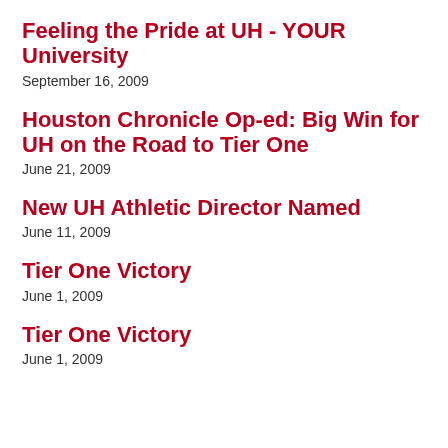Feeling the Pride at UH - YOUR University
September 16, 2009
Houston Chronicle Op-ed: Big Win for UH on the Road to Tier One
June 21, 2009
New UH Athletic Director Named
June 11, 2009
Tier One Victory
June 1, 2009
Tier One Victory
June 1, 2009